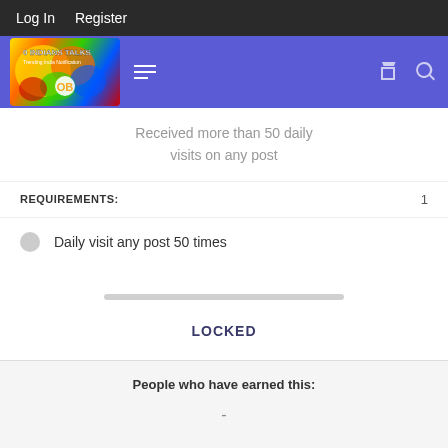Log In   Register
[Figure (logo): 0 Indians Talks website logo with colorful map graphic]
Received more than 50 daily visits on any post
REQUIREMENTS:   1
Daily visit any post 50 times
LOCKED
People who have earned this:
-